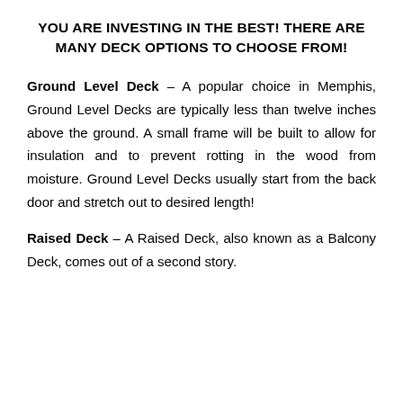YOU ARE INVESTING IN THE BEST! THERE ARE MANY DECK OPTIONS TO CHOOSE FROM!
Ground Level Deck – A popular choice in Memphis, Ground Level Decks are typically less than twelve inches above the ground. A small frame will be built to allow for insulation and to prevent rotting in the wood from moisture. Ground Level Decks usually start from the back door and stretch out to desired length!
Raised Deck – A Raised Deck, also known as a Balcony Deck, comes out of a second story.